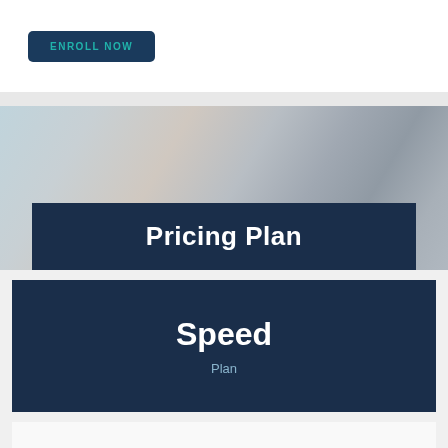Enroll Now
Pricing Plan
Speed
Plan
$110.99